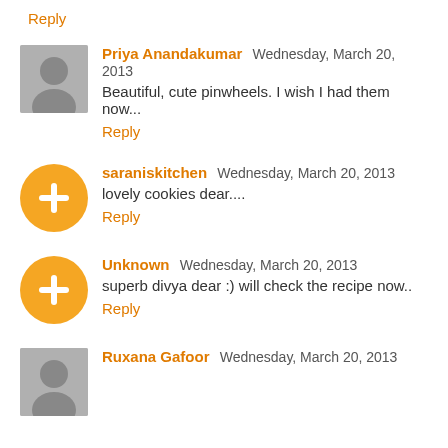Reply
Priya Anandakumar  Wednesday, March 20, 2013
Beautiful, cute pinwheels. I wish I had them now...
Reply
saraniskitchen  Wednesday, March 20, 2013
lovely cookies dear....
Reply
Unknown  Wednesday, March 20, 2013
superb divya dear :) will check the recipe now..
Reply
Ruxana Gafoor  Wednesday, March 20, 2013